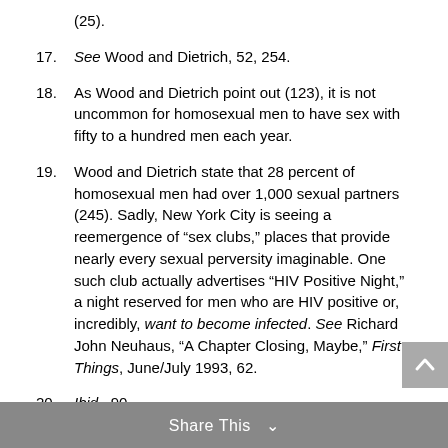(25).
17. See Wood and Dietrich, 52, 254.
18. As Wood and Dietrich point out (123), it is not uncommon for homosexual men to have sex with fifty to a hundred men each year.
19. Wood and Dietrich state that 28 percent of homosexual men had over 1,000 sexual partners (245). Sadly, New York City is seeing a reemergence of “sex clubs,” places that provide nearly every sexual perversity imaginable. One such club actually advertises “HIV Positive Night,” a night reserved for men who are HIV positive or, incredibly, want to become infected. See Richard John Neuhaus, “A Chapter Closing, Maybe,” First Things, June/July 1993, 62.
20. Ibid., 90.
21. See Michael Fumento, “AIDS: Are Heterosexuals at Risk?” Commentary, November 1987, 21.
Share This